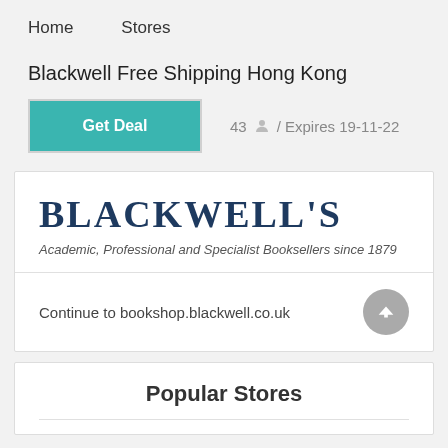Home   Stores
Blackwell Free Shipping Hong Kong
Get Deal   43 / Expires 19-11-22
[Figure (logo): Blackwell's logo with text: BLACKWELL'S — Academic, Professional and Specialist Booksellers since 1879]
Continue to bookshop.blackwell.co.uk
Popular Stores